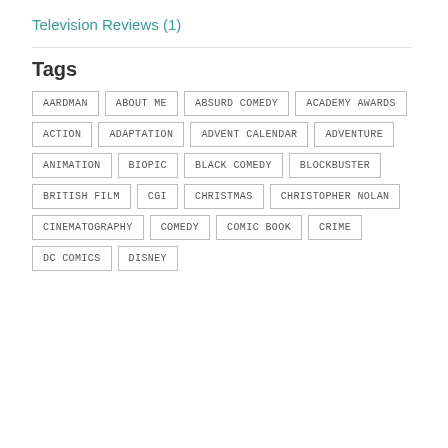Television Reviews (1)
Tags
AARDMAN
ABOUT ME
ABSURD COMEDY
ACADEMY AWARDS
ACTION
ADAPTATION
ADVENT CALENDAR
ADVENTURE
ANIMATION
BIOPIC
BLACK COMEDY
BLOCKBUSTER
BRITISH FILM
CGI
CHRISTMAS
CHRISTOPHER NOLAN
CINEMATOGRAPHY
COMEDY
COMIC BOOK
CRIME
DC COMICS
DISNEY